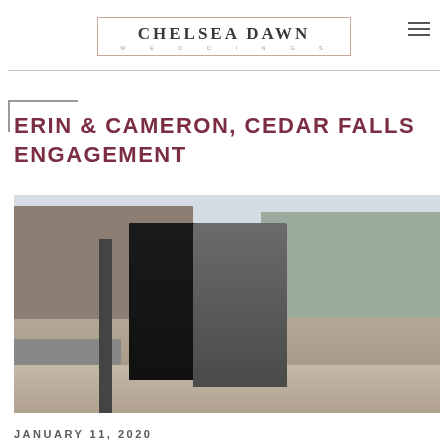CHELSEA DAWN WEDDINGS
ERIN & CAMERON, CEDAR FALLS ENGAGEMENT
[Figure (photo): A couple kissing on a downtown sidewalk street scene in Cedar Falls, with storefronts, a lamp post, and pedestrians in the background.]
JANUARY 11, 2020